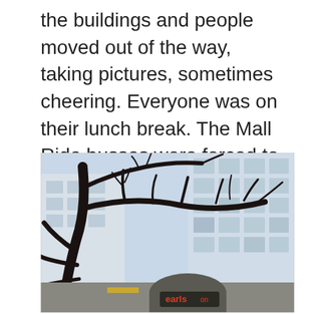the buildings and people moved out of the way, taking pictures, sometimes cheering. Everyone was on their lunch break. The Mall Ride busses were forced to stop in their tracks, a hundred of us blocking their way.
[Figure (photo): Outdoor photograph looking up at bare winter tree branches silhouetted against a pale blue sky, with a large multi-story building visible in the background. At the bottom of the image is a storefront sign reading 'earls' in red letters on a dark background with an arched entrance.]